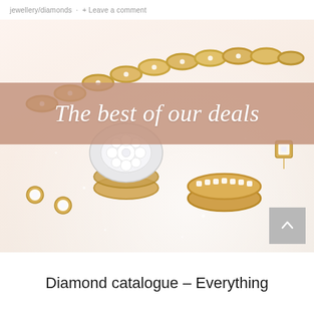jewellery/diamonds · Leave a comment
[Figure (photo): Banner image showing gold diamond jewellery — a gold chain bracelet, diamond cluster ring, stacked gold bands with diamond eternity ring, and diamond stud earrings on a white background. A mauve/rose tone overlay band reads 'The best of our deals' in large white italic text.]
Diamond catalogue – Everything